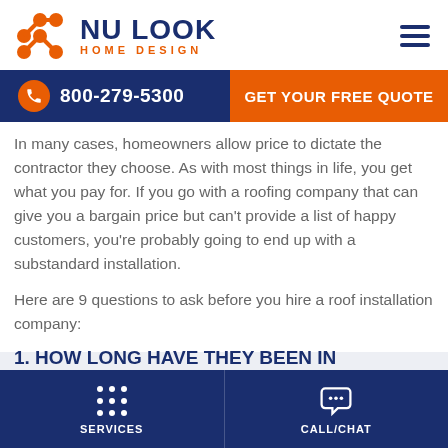[Figure (logo): Nu Look Home Design logo with orange hexagonal dot pattern icon and navy blue text]
800-279-5300 | GET YOUR FREE QUOTE
In many cases, homeowners allow price to dictate the contractor they choose. As with most things in life, you get what you pay for. If you go with a roofing company that can give you a bargain price but can't provide a list of happy customers, you're probably going to end up with a substandard installation.
Here are 9 questions to ask before you hire a roof installation company:
1. HOW LONG HAVE THEY BEEN IN BUSINESS?
SERVICES | CALL/CHAT